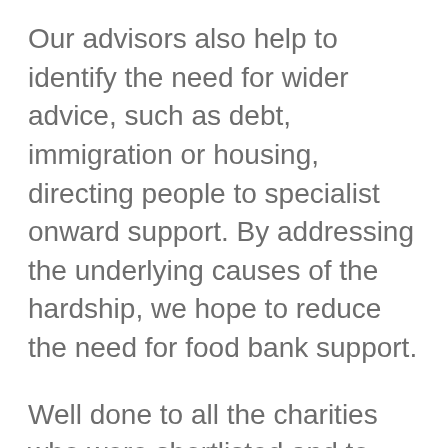Our advisors also help to identify the need for wider advice, such as debt, immigration or housing, directing people to specialist onward support. By addressing the underlying causes of the hardship, we hope to reduce the need for food bank support.
Well done to all the charities who were shortlisted and to those who won!